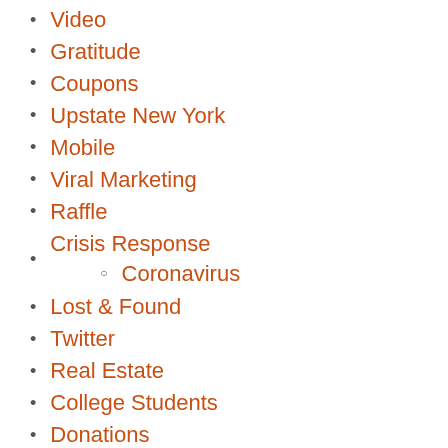Video
Gratitude
Coupons
Upstate New York
Mobile
Viral Marketing
Raffle
Crisis Response
Coronavirus
Lost & Found
Twitter
Real Estate
College Students
Donations
Social Responsibility
How To Use FPF
Online Civility
Orton Family Foundation
Start ups